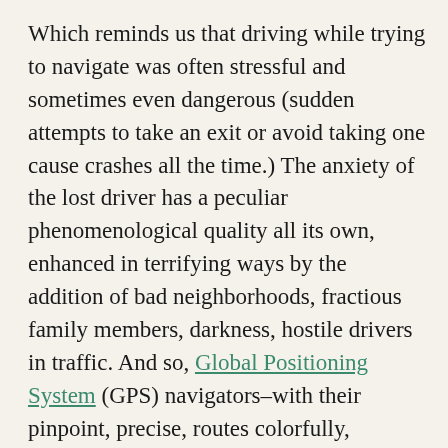Which reminds us that driving while trying to navigate was often stressful and sometimes even dangerous (sudden attempts to take an exit or avoid taking one cause crashes all the time.) The anxiety of the lost driver has a peculiar phenomenological quality all its own, enhanced in terrifying ways by the addition of bad neighborhoods, fractious family members, darkness, hostile drivers in traffic. And so, Global Positioning System (GPS) navigators–with their pinpoint, precise, routes colorfully, explicitly marked out–were always destined to find a grateful and receptive following. An interactive, dynamic, realistic, updated in real-time map is a Good Thing, even if the voices in which it issued its commands and directions